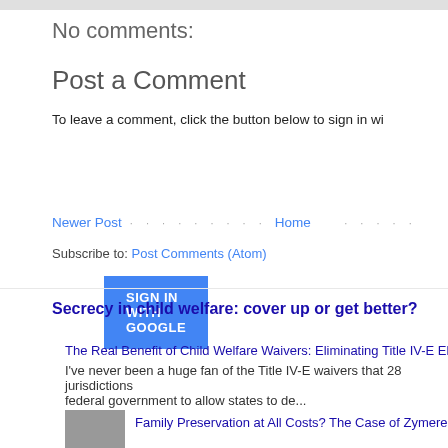No comments:
Post a Comment
To leave a comment, click the button below to sign in wi
[Figure (other): SIGN IN WITH GOOGLE blue button]
Newer Post · · · · · · · · · Home · · · · ·
Subscribe to: Post Comments (Atom)
Secrecy in child welfare: cover up or get better?
The Real Benefit of Child Welfare Waivers: Eliminating Title IV-E Eligibili
I've never been a huge fan of the Title IV-E waivers that 28 jurisdictions federal government to allow states to de...
Family Preservation at All Costs? The Case of Zymere P